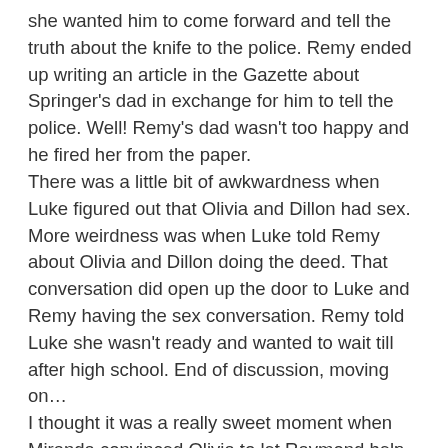she wanted him to come forward and tell the truth about the knife to the police. Remy ended up writing an article in the Gazette about Springer's dad in exchange for him to tell the police. Well! Remy's dad wasn't too happy and he fired her from the paper.
There was a little bit of awkwardness when Luke figured out that Olivia and Dillon had sex. More weirdness was when Luke told Remy about Olivia and Dillon doing the deed. That conversation did open up the door to Luke and Remy having the sex conversation. Remy told Luke she wasn't ready and wanted to wait till after high school. End of discussion, moving on…
I thought it was a really sweet moment when Miranda convinced Olivia to let Raymond help out Rochelle. Miranda told her Raymond was somewhat human and that he seemed to really care for Rochelle. I was inclined to believe that, until the end of the episode. I'm not sure about anything anymore.